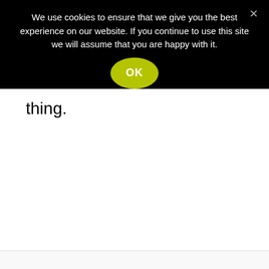We use cookies to ensure that we give you the best experience on our website. If you continue to use this site we will assume that you are happy with it.
OK
thing.